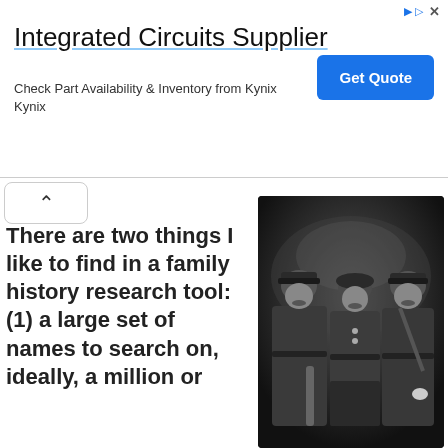[Figure (screenshot): Advertisement banner for Integrated Circuits Supplier (Kynix) with a 'Get Quote' button, and close/external link icons in the top right corner.]
There are two things I like to find in a family history research tool: (1) a large set of names to search on, ideally, a million or
[Figure (photo): Black and white photograph of three men in World War I era British military uniforms, including peaked caps and Sam Browne belts, posing together formally.]